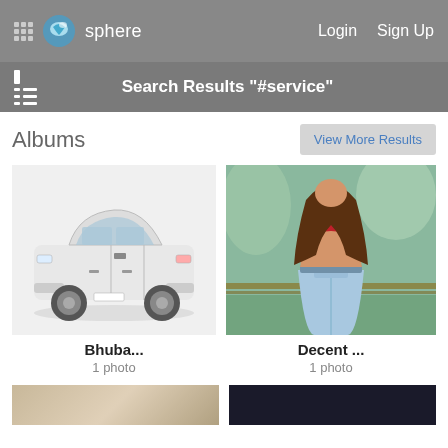sphere   Login   Sign Up
Search Results "#service"
Albums
View More Results
[Figure (photo): White Tata sedan car on white background]
Bhuba...
1 photo
[Figure (photo): Young woman in red crop top and light blue jeans posing outdoors]
Decent ...
1 photo
[Figure (photo): Partially visible bottom thumbnail on left]
[Figure (photo): Partially visible bottom thumbnail on right (dark)]